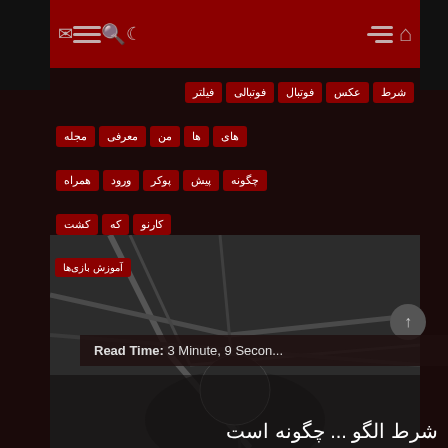Navigation bar with icons and menu
شرط | عکس | فوتبال | فوتبالی | فیلتر
مجله | معرفی | من | ها | های
همراه | ورود | پوکر | پیش | چگونه
کارنو | که | کشت
[Figure (map): Dark map background with road lines and a partial view of a figure]
آموزش بازی‌ها
Read Time:  3 Minute, 9 Secon...
شرط‌ الگو ... چگونه است